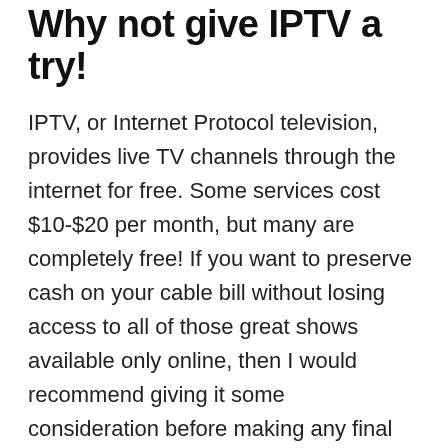Why not give IPTV a try!
IPTV, or Internet Protocol television, provides live TV channels through the internet for free. Some services cost $10-$20 per month, but many are completely free! If you want to preserve cash on your cable bill without losing access to all of those great shows available only online, then I would recommend giving it some consideration before making any final decisions about cutting cords today- search “IPTV” in google play store and find what works best with whatever device(s) you plan to keep using long term.
How much bandwidth